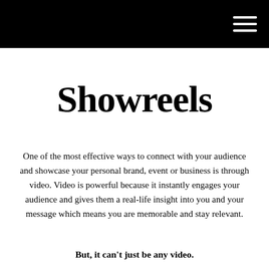Showreels
One of the most effective ways to connect with your audience and showcase your personal brand, event or business is through video. Video is powerful because it instantly engages your audience and gives them a real-life insight into you and your message which means you are memorable and stay relevant.
But, it can't just be any video.